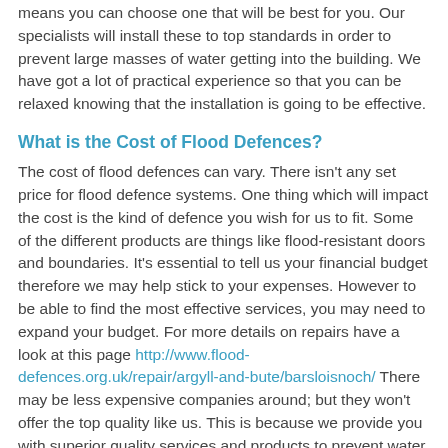means you can choose one that will be best for you. Our specialists will install these to top standards in order to prevent large masses of water getting into the building. We have got a lot of practical experience so that you can be relaxed knowing that the installation is going to be effective.
What is the Cost of Flood Defences?
The cost of flood defences can vary. There isn't any set price for flood defence systems. One thing which will impact the cost is the kind of defence you wish for us to fit. Some of the different products are things like flood-resistant doors and boundaries. It's essential to tell us your financial budget therefore we may help stick to your expenses. However to be able to find the most effective services, you may need to expand your budget. For more details on repairs have a look at this page http://www.flood-defences.org.uk/repair/argyll-and-bute/barsloisnoch/ There may be less expensive companies around; but they won't offer the top quality like us. This is because we provide you with superior quality services and products to prevent water getting into your house or commercial space along with effective aftercare services.
Flood Defence Spending in England